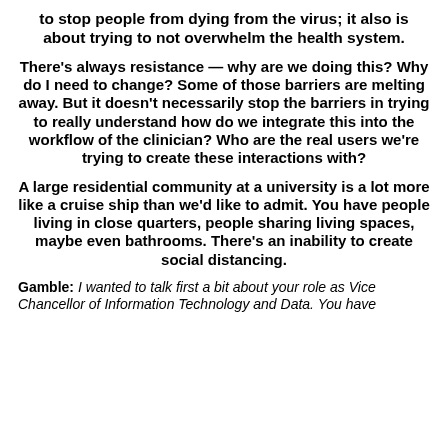to stop people from dying from the virus; it also is about trying to not overwhelm the health system.
There's always resistance — why are we doing this? Why do I need to change? Some of those barriers are melting away. But it doesn't necessarily stop the barriers in trying to really understand how do we integrate this into the workflow of the clinician? Who are the real users we're trying to create these interactions with?
A large residential community at a university is a lot more like a cruise ship than we'd like to admit. You have people living in close quarters, people sharing living spaces, maybe even bathrooms. There's an inability to create social distancing.
Gamble: I wanted to talk first a bit about your role as Vice Chancellor of Information Technology and Data. You have